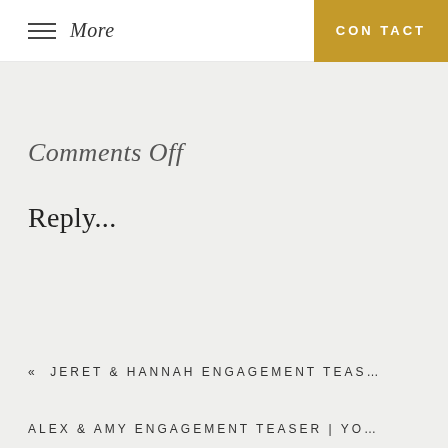More   CONTACT
Comments Off
Reply...
« JERET & HANNAH ENGAGEMENT TEAS…
ALEX & AMY ENGAGEMENT TEASER | YO…